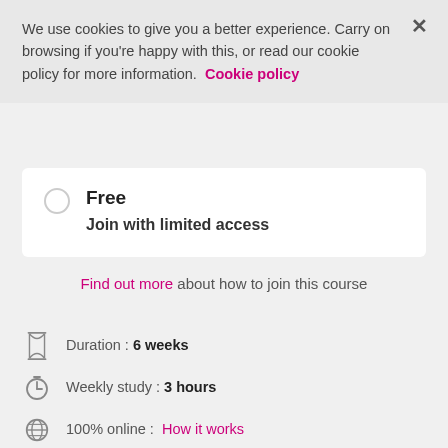We use cookies to give you a better experience. Carry on browsing if you're happy with this, or read our cookie policy for more information. Cookie policy
Free
Join with limited access
Find out more about how to join this course
Duration : 6 weeks
Weekly study : 3 hours
100% online : How it works
Unlimited subscription : $23.33/month Learn more